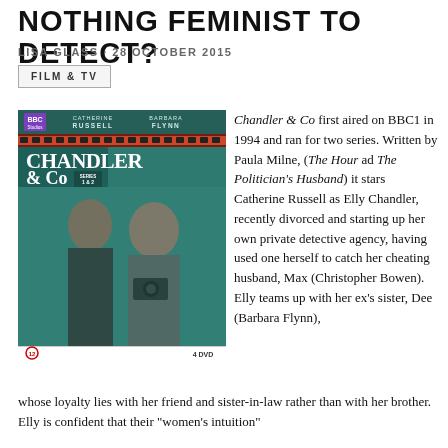NOTHING FEMINIST TO DETECT?
LISA GLASS · 28 OCTOBER 2015
FILM & TV
[Figure (photo): DVD cover of Chandler & Co BBC series 1 & 2, showing Catherine Russell and Barbara Flynn]
Chandler & Co first aired on BBC1 in 1994 and ran for two series. Written by Paula Milne, (The Hour ad The Politician's Husband) it stars Catherine Russell as Elly Chandler, recently divorced and starting up her own private detective agency, having used one herself to catch her cheating husband, Max (Christopher Bowen). Elly teams up with her ex's sister, Dee (Barbara Flynn), whose loyalty lies with her friend and sister-in-law rather than with her brother. Elly is confident that their "women's intuition"